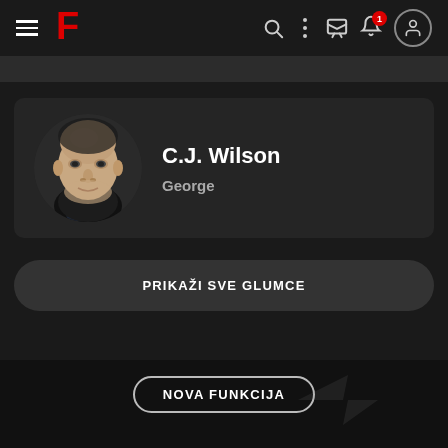F (app logo/navbar)
[Figure (photo): Headshot photo of C.J. Wilson, a bald middle-aged man in a dark sweater against a dark background]
C.J. Wilson
George
PRIKAŽI SVE GLUMCE
NOVA FUNKCIJA